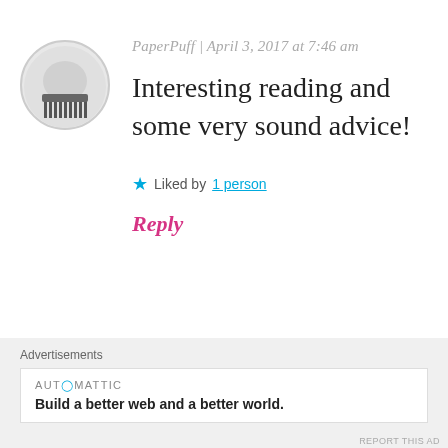[Figure (illustration): Circular avatar image showing a dark comb/hair accessory on light background]
PaperPuff | April 3, 2017 at 7:46 am
Interesting reading and some very sound advice!
★ Liked by 1 person
Reply
Advertisements
AUTOMATTIC
Build a better web and a better world.